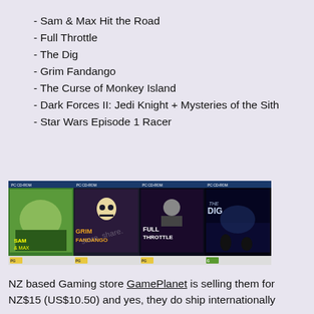- Sam & Max Hit the Road
- Full Throttle
- The Dig
- Grim Fandango
- The Curse of Monkey Island
- Dark Forces II: Jedi Knight + Mysteries of the Sith
- Star Wars Episode 1 Racer
[Figure (photo): Four PC CD-ROM game boxes shown side by side: Sam & Max Hit the Road, Grim Fandango, Full Throttle, and The Dig. All have PG ratings.]
NZ based Gaming store GamePlanet is selling them for NZ$15 (US$10.50) and yes, they do ship internationally